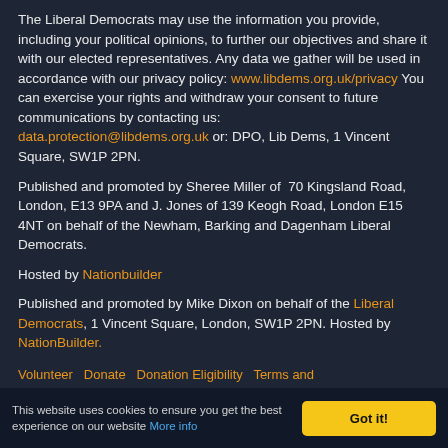The Liberal Democrats may use the information you provide, including your political opinions, to further our objectives and share it with our elected representatives. Any data we gather will be used in accordance with our privacy policy: www.libdems.org.uk/privacy You can exercise your rights and withdraw your consent to future communications by contacting us: data.protection@libdems.org.uk or: DPO, Lib Dems, 1 Vincent Square, SW1P 2PN.
Published and promoted by Sheree Miller of 70 Kingsland Road, London, E13 9PA and J. Jones of 139 Keogh Road, London E15 4NT on behalf of the Newham, Barking and Dagenham Liberal Democrats.
Hosted by Nationbuilder
Published and promoted by Mike Dixon on behalf of the Liberal Democrats, 1 Vincent Square, London, SW1P 2PN. Hosted by NationBuilder.
Volunteer   Donate   Donation Eligibility   Terms and
This website uses cookies to ensure you get the best experience on our website More info